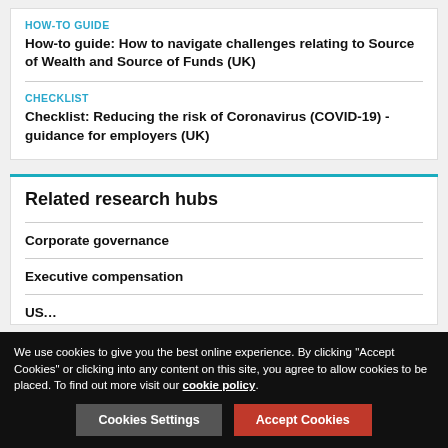HOW-TO GUIDE
How-to guide: How to navigate challenges relating to Source of Wealth and Source of Funds (UK)
CHECKLIST
Checklist: Reducing the risk of Coronavirus (COVID-19) - guidance for employers (UK)
Related research hubs
Corporate governance
Executive compensation
US...
We use cookies to give you the best online experience. By clicking "Accept Cookies" or clicking into any content on this site, you agree to allow cookies to be placed. To find out more visit our cookie policy.
Cookies Settings
Accept Cookies